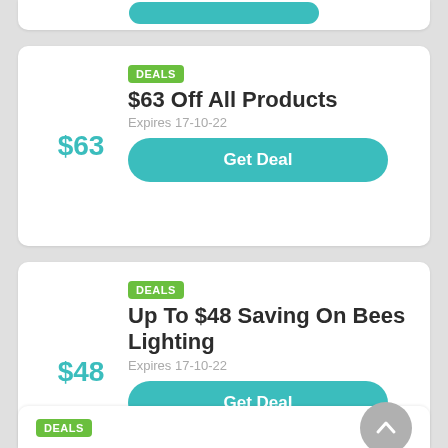[Figure (other): Top partial white card with teal button, partially visible at top of page]
$63
DEALS
$63 Off All Products
Expires 17-10-22
Get Deal
$48
DEALS
Up To $48 Saving On Bees Lighting
Expires 17-10-22
Get Deal
DEALS